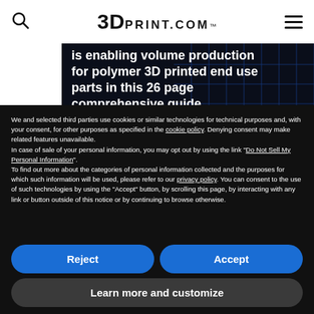3DPRINT.COM™
[Figure (screenshot): Dark background hero image with blue grid lines on right side, showing partial text about enabling volume production for polymer 3D printed end use parts in a 26 page comprehensive guide, with a red DOWNLOAD NOW button]
We and selected third parties use cookies or similar technologies for technical purposes and, with your consent, for other purposes as specified in the cookie policy. Denying consent may make related features unavailable.
In case of sale of your personal information, you may opt out by using the link "Do Not Sell My Personal Information".
To find out more about the categories of personal information collected and the purposes for which such information will be used, please refer to our privacy policy. You can consent to the use of such technologies by using the "Accept" button, by scrolling this page, by interacting with any link or button outside of this notice or by continuing to browse otherwise.
Reject
Accept
Learn more and customize